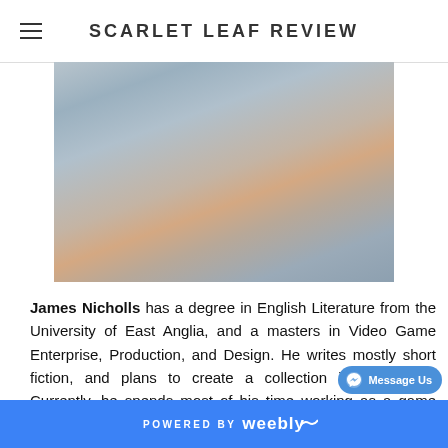SCARLET LEAF REVIEW
[Figure (photo): Cropped photo showing the torso/chest area of a person wearing a light blue-grey textured jacket, partial view of skin visible at neckline]
James Nicholls has a degree in English Literature from the University of East Anglia, and a masters in Video Game Enterprise, Production, and Design. He writes mostly short fiction, and plans to create a collection in the future. Currently, he spends most of his time working as a game writer for Wolcen, a video game development studio in Nice, France.
INVITATIONS
POWERED BY weebly